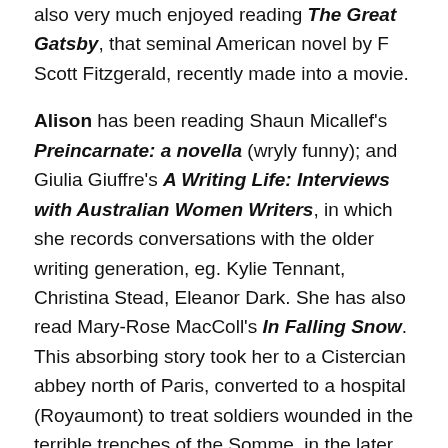also very much enjoyed reading The Great Gatsby, that seminal American novel by F Scott Fitzgerald, recently made into a movie.
Alison has been reading Shaun Micallef's Preincarnate: a novella (wryly funny); and Giulia Giuffre's A Writing Life: Interviews with Australian Women Writers, in which she records conversations with the older writing generation, eg. Kylie Tennant, Christina Stead, Eleanor Dark. She has also read Mary-Rose MacColl's In Falling Snow. This absorbing story took her to a Cistercian abbey north of Paris, converted to a hospital (Royaumont) to treat soldiers wounded in the terrible trenches of the Somme, in the later years of World War I. Alison scurried to an atlas to check how close Royaumont was to the battlefronts on the Somme and further east, and was horrified anew at the torments suffered by front-line